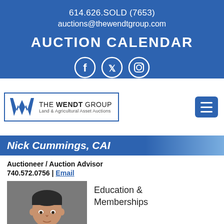614.626.SOLD (7653)
auctions@thewendtgroup.com
AUCTION CALENDAR
[Figure (logo): Social media icons: Facebook, Twitter, Instagram circles in white outline on blue background]
[Figure (logo): The Wendt Group logo - Land & Agricultural Asset Auctions, with stylized W mark and blue border]
[Figure (other): Hamburger menu button (three horizontal lines) on blue rounded rectangle background]
Nick Cummings, CAI
Auctioneer / Auction Advisor
740.572.0756 | Email
[Figure (photo): Headshot photo of Nick Cummings, a man with short dark hair against a gray background]
Education & Memberships